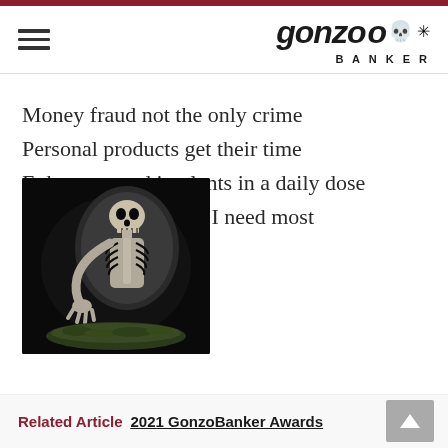Gonzo Banker
Money fraud not the only crime
Personal products get their time
Enhancers and implants in a daily dose
Not quite sure which I need most
[Figure (photo): A skeleton figure reclining against a dark background, appearing to be a small decorative sculpture or figurine on a dark/black surface.]
Related Article  2021 GonzoBanker Awards